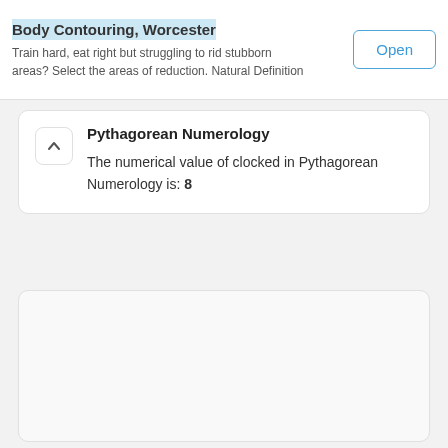Body Contouring, Worcester
Train hard, eat right but struggling to rid stubborn areas? Select the areas of reduction. Natural Definition
Open
Pythagorean Numerology
The numerical value of clocked in Pythagorean Numerology is: 8